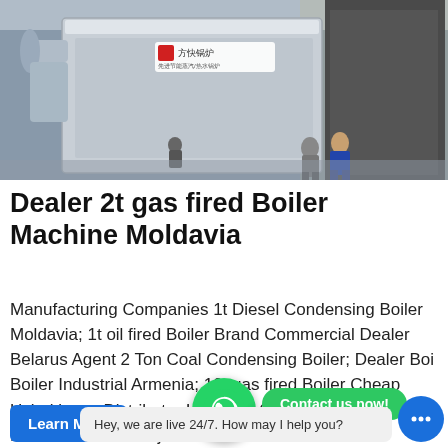[Figure (photo): Industrial boiler machine installation — large silver/gray metallic boiler unit in a factory/warehouse setting with workers standing near it]
Dealer 2t gas fired Boiler Machine Moldavia
Manufacturing Companies 1t Diesel Condensing Boiler Moldavia; 1t oil fired Boiler Brand Commercial Dealer Belarus Agent 2 Ton Coal Condensing Boiler; Dealer Boiler Industrial Armenia; 10t gas fired Boiler Cheap Uzbekistan; Distributor Industrial 20 Ton Oil Steam Boiler For Sale 10t Azerbaijan
[Figure (other): WhatsApp floating button (green circle with phone icon) and green 'Contact us now!' button overlay]
Hey, we are live 24/7. How may I help you?
Learn More